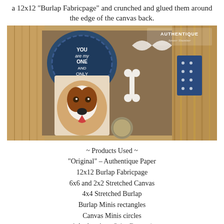a 12x12 "Burlap Fabricpage" and crunched and glued them around the edge of the canvas back.
[Figure (photo): Close-up photo of a craft canvas decorated with burlap fabric, a dog photo (St. Bernard), white bone charm, blue polka-dot ribbon, and decorative tags with text 'YOU are my ONE AND ONLY'. Authentique and Janeer Shamber logos visible in top right.]
~ Products Used ~
"Original" - Authentique Paper
12x12 Burlap Fabricpage
6x6 and 2x2 Stretched Canvas
4x4 Stretched Burlap
Burlap Minis rectangles
Canvas Minis circles
1 Authentique Saint Bernard